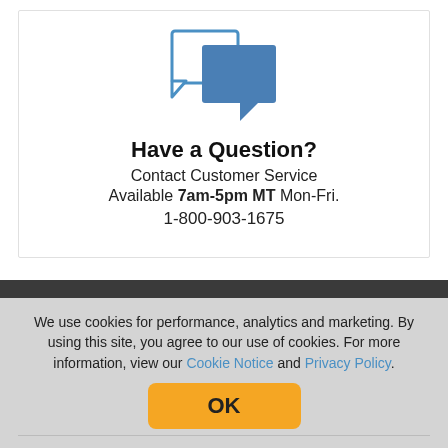[Figure (illustration): Two overlapping chat/speech bubble icons in blue and white, representing customer service messaging]
Have a Question?
Contact Customer Service
Available 7am-5pm MT Mon-Fri.
1-800-903-1675
We use cookies for performance, analytics and marketing. By using this site, you agree to our use of cookies. For more information, view our Cookie Notice and Privacy Policy.
ABOUT
SUPPORT